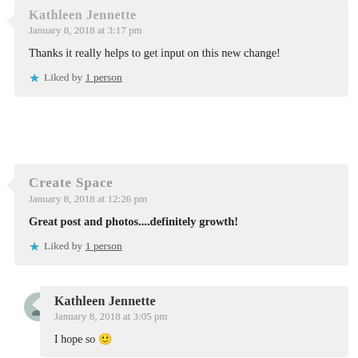Kathleen Jennette
January 8, 2018 at 3:17 pm
Thanks it really helps to get input on this new change!
Liked by 1 person
Create Space
January 8, 2018 at 12:26 pm
Great post and photos....definitely growth!
Liked by 1 person
Kathleen Jennette
January 8, 2018 at 3:05 pm
I hope so 🙂